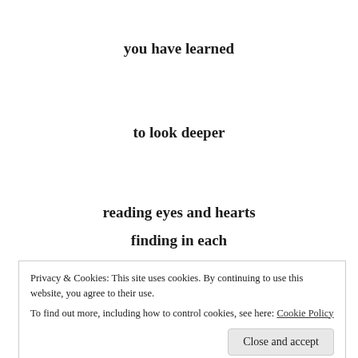you have learned
to look deeper
reading eyes and hearts
of others
as i could never do
finding in each
Privacy & Cookies: This site uses cookies. By continuing to use this website, you agree to their use. To find out more, including how to control cookies, see here: Cookie Policy
Close and accept
confident a mirror cannot be